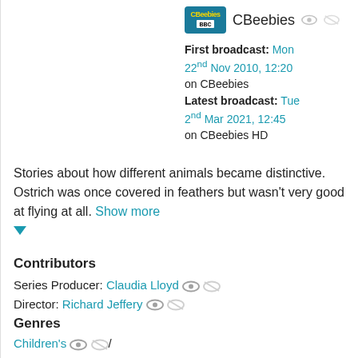[Figure (logo): CBeebies BBC logo (teal/blue rounded rectangle with CBeebies text)]
CBeebies
First broadcast: Mon 22nd Nov 2010, 12:20 on CBeebies
Latest broadcast: Tue 2nd Mar 2021, 12:45 on CBeebies HD
Stories about how different animals became distinctive. Ostrich was once covered in feathers but wasn't very good at flying at all. Show more ▼
Contributors
Series Producer: Claudia Lloyd
Director: Richard Jeffery
Genres
Children's /